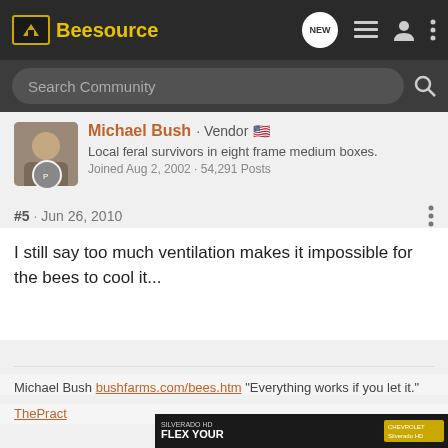Beesource
Search Community
Michael Bush · Vendor
Local feral survivors in eight frame medium boxes.
Joined Aug 2, 2002 · 54,291 Posts
#5 · Jun 26, 2010
I still say too much ventilation makes it impossible for the bees to cool it...
Michael Bush bushfarms.com/bees.htm "Everything works if you let it."
[Figure (screenshot): Partial Chevrolet Silverado HD advertisement showing truck and text FLEX YOUR WORK MUSCLES.]